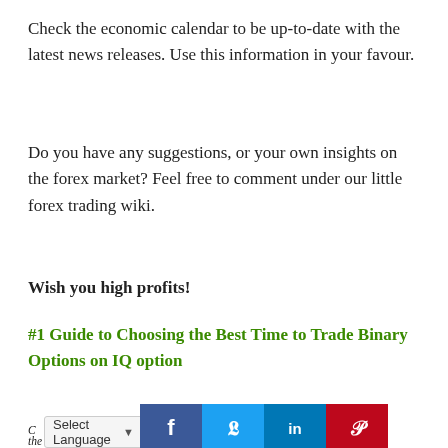Check the economic calendar to be up-to-date with the latest news releases. Use this information in your favour.
Do you have any suggestions, or your own insights on the forex market? Feel free to comment under our little forex trading wiki.
Wish you high profits!
#1 Guide to Choosing the Best Time to Trade Binary Options on IQ option
[Figure (other): Orange 'Trade now' call-to-action button with social sharing icons (Facebook, Twitter, LinkedIn, Pinterest) overlaid at bottom, and a language selector dropdown.]
CFDs and other financial products offered by the company carry a high level of risk and can result in